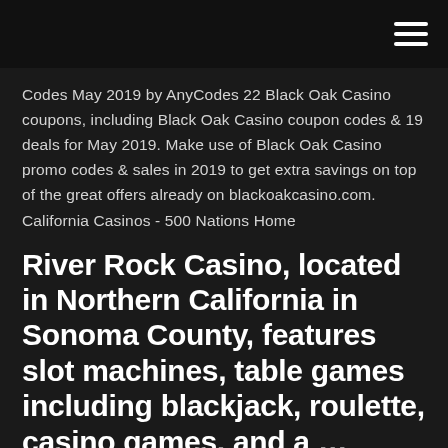[hamburger menu icon]
Codes May 2019 by AnyCodes 22 Black Oak Casino coupons, including Black Oak Casino coupon codes & 19 deals for May 2019. Make use of Black Oak Casino promo codes & sales in 2019 to get extra savings on top of the great offers already on blackoakcasino.com. California Casinos - 500 Nations Home
River Rock Casino, located in Northern California in Sonoma County, features slot machines, table games including blackjack, roulette, casino games, and a …
Caribbean cruise casino rules, black oak casino wedding